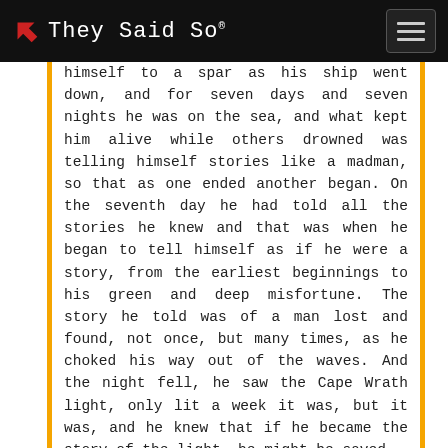They Said So®
himself to a spar as his ship went down, and for seven days and seven nights he was on the sea, and what kept him alive while others drowned was telling himself stories like a madman, so that as one ended another began. On the seventh day he had told all the stories he knew and that was when he began to tell himself as if he were a story, from the earliest beginnings to his green and deep misfortune. The story he told was of a man lost and found, not once, but many times, as he choked his way out of the waves. And the night fell, he saw the Cape Wrath light, only lit a week it was, but it was, and he knew that if he became the story of the light, he might be saved.